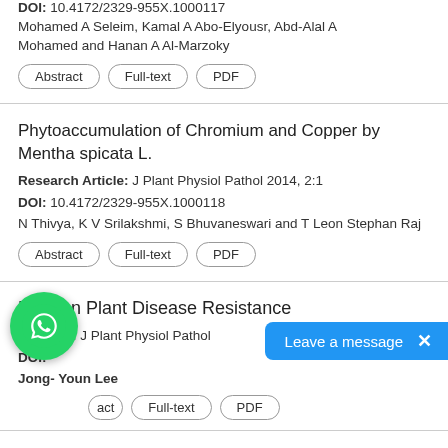DOI: 10.4172/2329-955X.1000117
Mohamed A Seleim, Kamal A Abo-Elyousr, Abd-Alal A Mohamed and Hanan A Al-Marzoky
Abstract | Full-text | PDF
Phytoaccumulation of Chromium and Copper by Mentha spicata L.
Research Article: J Plant Physiol Pathol 2014, 2:1
DOI: 10.4172/2329-955X.1000118
N Thivya, K V Srilakshmi, S Bhuvaneswari and T Leon Stephan Raj
Abstract | Full-text | PDF
Note on Plant Disease Resistance
Editorial: J Plant Physiol Pathol
DOI:
Jong- Youn Lee
Abstract | Full-text | PDF
Modulation of Oxidative St...